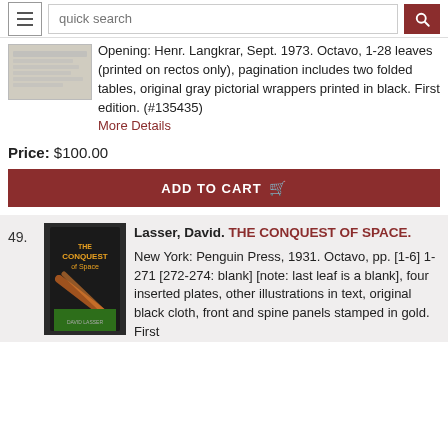quick search
Opening: Henr. Langkrar, Sept. 1973. Octavo, 1-28 leaves (printed on rectos only), pagination includes two folded tables, original gray pictorial wrappers printed in black. First edition. (#135435)
More Details
Price: $100.00
ADD TO CART
49.
[Figure (photo): Book cover photo of 'The Conquest of Space']
Lasser, David. THE CONQUEST OF SPACE.
New York: Penguin Press, 1931. Octavo, pp. [1-6] 1-271 [272-274: blank] [note: last leaf is a blank], four inserted plates, other illustrations in text, original black cloth, front and spine panels stamped in gold. First